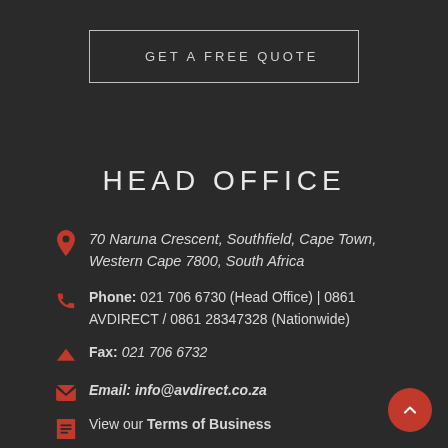GET A FREE QUOTE
HEAD OFFICE
70 Naruna Crescent, Southfield, Cape Town, Western Cape 7800, South Africa
Phone: 021 706 6730 (Head Office) | 0861 AVDIRECT / 0861 28347328 (Nationwide)
Fax: 021 706 6732
Email: info@avdirect.co.za
View our Terms of Business